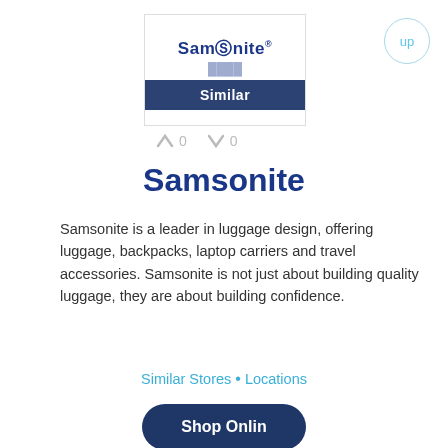[Figure (logo): Samsonite logo card with 'Similar' label overlay and percentage text]
Samsonite
Samsonite is a leader in luggage design, offering luggage, backpacks, laptop carriers and travel accessories. Samsonite is not just about building quality luggage, they are about building confidence.
Similar Stores • Locations
[Figure (other): Shop Online button (dark navy rounded rectangle)]